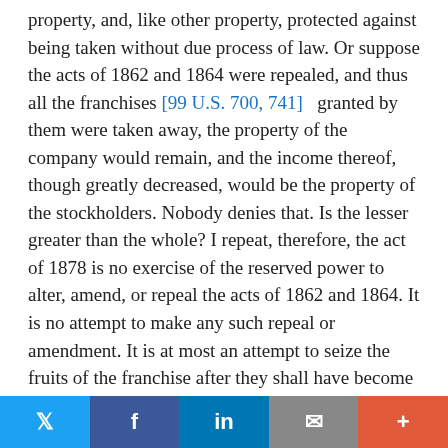property, and, like other property, protected against being taken without due process of law. Or suppose the acts of 1862 and 1864 were repealed, and thus all the franchises [99 U.S. 700, 741] granted by them were taken away, the property of the company would remain, and the income thereof, though greatly decreased, would be the property of the stockholders. Nobody denies that. Is the lesser greater than the whole? I repeat, therefore, the act of 1878 is no exercise of the reserved power to alter, amend, or repeal the acts of 1862 and 1864. It is no attempt to make any such repeal or amendment. It is at most an attempt to seize the fruits of the franchise after they shall have become the vested property of the corporations. It is an attempt to sequester the income of the property owned by them. As well might the government attempt to seize and put into its treasury the rents, issues, and profits of the lands granted to
Twitter | Facebook | LinkedIn | Email | More